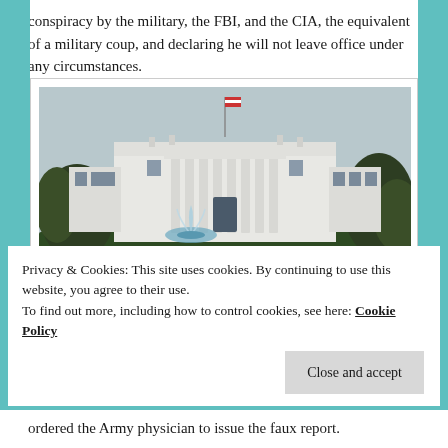conspiracy by the military, the FBI, and the CIA, the equivalent of a military coup, and declaring he will not leave office under any circumstances.
[Figure (photo): Photograph of the White House South Lawn showing the building facade with columns, a fountain in the foreground, trees on both sides, and a flag on top.]
Privacy & Cookies: This site uses cookies. By continuing to use this website, you agree to their use.
To find out more, including how to control cookies, see here: Cookie Policy
ordered the Army physician to issue the faux report.